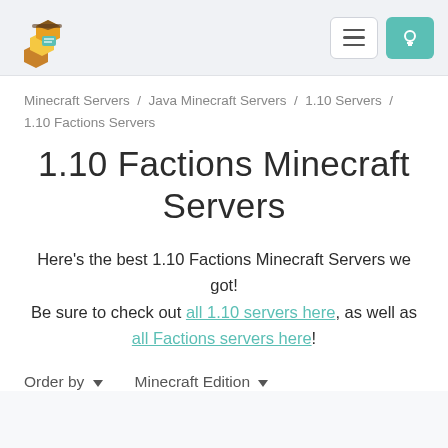Navigation header with logo, menu button, and bulb/theme button
Minecraft Servers / Java Minecraft Servers / 1.10 Servers / 1.10 Factions Servers
1.10 Factions Minecraft Servers
Here's the best 1.10 Factions Minecraft Servers we got!
Be sure to check out all 1.10 servers here, as well as all Factions servers here!
Order by ▾    Minecraft Edition ▾